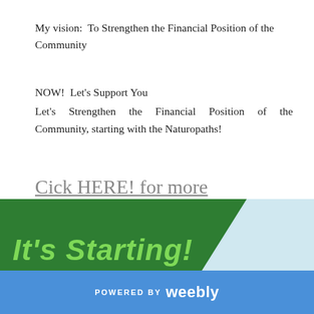My vision:  To Strengthen the Financial Position of the Community
NOW!  Let's Support You
Let's Strengthen the Financial Position of the Community, starting with the Naturopaths!
Cick HERE! for more information.
[Figure (illustration): Green banner with diagonal light blue corner shape and cursive green text reading 'It's Starting!']
POWERED BY weebly